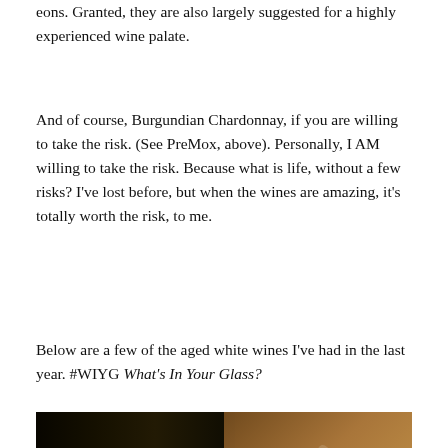eons. Granted, they are also largely suggested for a highly experienced wine palate.
And of course, Burgundian Chardonnay, if you are willing to take the risk. (See PreMox, above). Personally, I AM willing to take the risk. Because what is life, without a few risks? I've lost before, but when the wines are amazing, it's totally worth the risk, to me.
Below are a few of the aged white wines I've had in the last year. #WIYG What's In Your Glass?
[Figure (photo): Close-up photograph of a wine bottle (dark, on the left) next to a wine glass with amber/golden aged white wine (on the right), with a white label visible near the bottom of the bottle.]